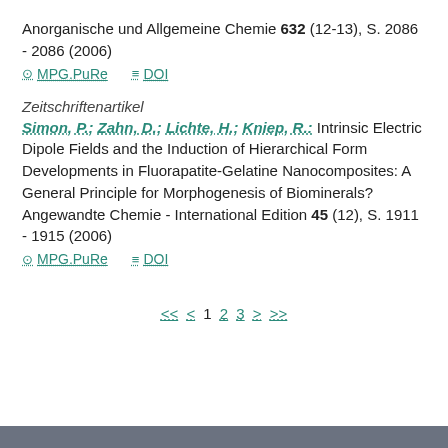Anorganische und Allgemeine Chemie 632 (12-13), S. 2086 - 2086 (2006)
MPG.PuRe   DOI
Zeitschriftenartikel
Simon, P.; Zahn, D.; Lichte, H.; Kniep, R.: Intrinsic Electric Dipole Fields and the Induction of Hierarchical Form Developments in Fluorapatite-Gelatine Nanocomposites: A General Principle for Morphogenesis of Biominerals? Angewandte Chemie - International Edition 45 (12), S. 1911 - 1915 (2006)
MPG.PuRe   DOI
<< < 1 2 3 > >>